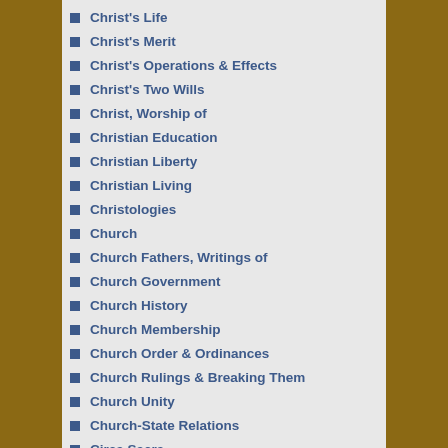Christ's Life
Christ's Merit
Christ's Operations & Effects
Christ's Two Wills
Christ, Worship of
Christian Education
Christian Liberty
Christian Living
Christologies
Church
Church Fathers, Writings of
Church Government
Church History
Church Membership
Church Order & Ordinances
Church Rulings & Breaking Them
Church Unity
Church-State Relations
Circa Sacra
Civil Government
Civil Law